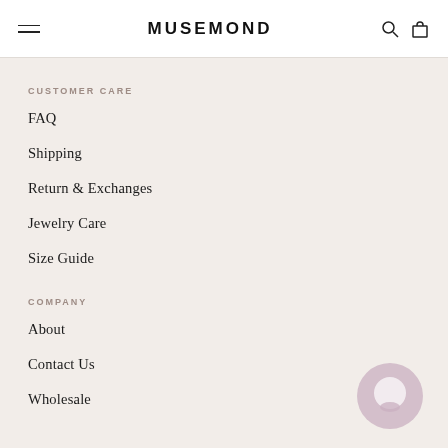MUSEMOND
CUSTOMER CARE
FAQ
Shipping
Return & Exchanges
Jewelry Care
Size Guide
COMPANY
About
Contact Us
Wholesale
[Figure (illustration): Chat support bubble icon, circular shape in muted mauve/pink color, bottom right corner]